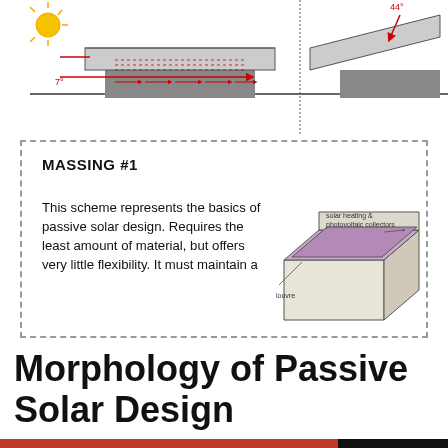[Figure (engineering-diagram): Passive solar design diagram showing sun angles and building cross-sections with arrows indicating solar radiation and heat flow. Red arrows show low angle (7°) sun entering building on left, and right side shows 44° angle. Gray blocks represent building masses with flat roofs.]
[Figure (schematic): Massing #1 box diagram showing a 3D perspective of a building with solar heating & photovoltaic collectors on the roof and a louvre element labeled. Purple/pink shading on roof collectors. Dashed border around entire massing box.]
MASSING #1
This scheme represents the basics of passive solar design. Requires the least amount of material, but offers very little flexibility. It must maintain a
Morphology of Passive Solar Design
Privacy & Cookies: This site uses cookies. By continuing to use this website, you agree to their use.
To find out more, including how to control cookies, see here: Cookie Policy